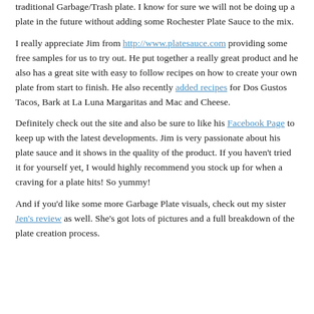traditional Garbage/Trash plate. I know for sure we will not be doing up a plate in the future without adding some Rochester Plate Sauce to the mix.
I really appreciate Jim from http://www.platesauce.com providing some free samples for us to try out. He put together a really great product and he also has a great site with easy to follow recipes on how to create your own plate from start to finish. He also recently added recipes for Dos Gustos Tacos, Bark at La Luna Margaritas and Mac and Cheese.
Definitely check out the site and also be sure to like his Facebook Page to keep up with the latest developments. Jim is very passionate about his plate sauce and it shows in the quality of the product. If you haven't tried it for yourself yet, I would highly recommend you stock up for when a craving for a plate hits! So yummy!
And if you'd like some more Garbage Plate visuals, check out my sister Jen's review as well. She's got lots of pictures and a full breakdown of the plate creation process.